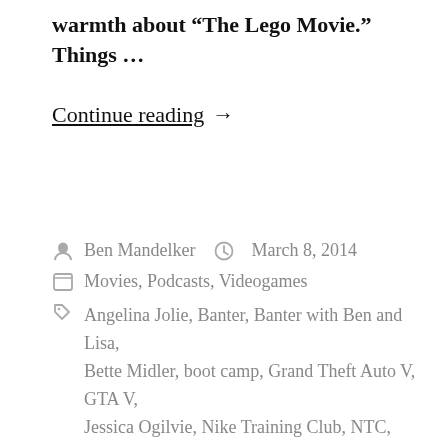warmth about “The Lego Movie.” Things …
Continue reading →
Ben Mandelker   March 8, 2014
Movies, Podcasts, Videogames
Angelina Jolie, Banter, Banter with Ben and Lisa, Bette Midler, boot camp, Grand Theft Auto V, GTA V, Jessica Ogilvie, Nike Training Club, NTC, Oscars, podcast, The Lego Movie, video games
1 Comment